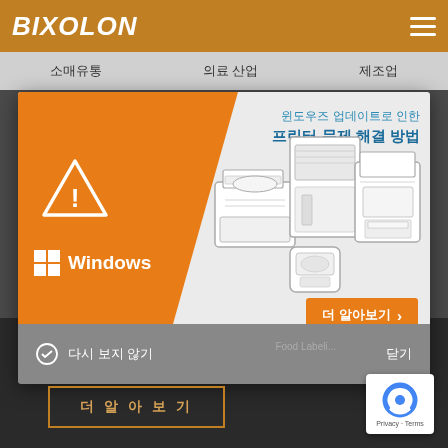BIXOLON
소매유통   의료 산업   제조업
[Figure (screenshot): BIXOLON website modal popup showing printer troubleshooting notification related to Windows update, with orange and gray design, printer illustrations, warning triangle icon, Windows logo, 더 알아보기 (Learn More) button, and 다시 보지 않기 (Don't show again) / 닫기 (Close) footer bar.]
윈도우즈 업데이트로 인한 프린터 문제 해결 방법
더 알아보기 ›
다시 보지 않기
닫기
더  알  아  보  기
Food Labeling
Privacy · Terms